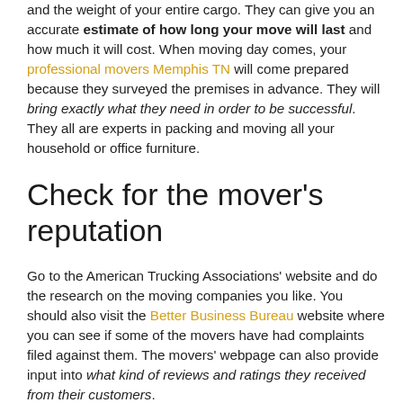and the weight of your entire cargo. They can give you an accurate estimate of how long your move will last and how much it will cost. When moving day comes, your professional movers Memphis TN will come prepared because they surveyed the premises in advance. They will bring exactly what they need in order to be successful. They all are experts in packing and moving all your household or office furniture.
Check for the mover's reputation
Go to the American Trucking Associations' website and do the research on the moving companies you like. You should also visit the Better Business Bureau website where you can see if some of the movers have had complaints filed against them. The movers' webpage can also provide input into what kind of reviews and ratings they received from their customers.